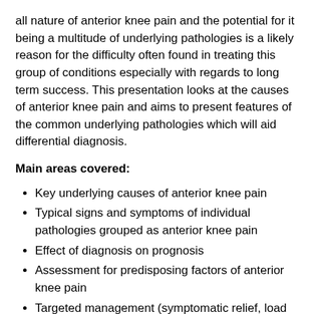all nature of anterior knee pain and the potential for it being a multitude of underlying pathologies is a likely reason for the difficulty often found in treating this group of conditions especially with regards to long term success. This presentation looks at the causes of anterior knee pain and aims to present features of the common underlying pathologies which will aid differential diagnosis.
Main areas covered:
Key underlying causes of anterior knee pain
Typical signs and symptoms of individual pathologies grouped as anterior knee pain
Effect of diagnosis on prognosis
Assessment for predisposing factors of anterior knee pain
Targeted management (symptomatic relief, load modification & reloading rehabilitation)